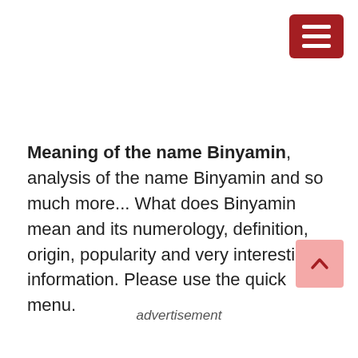[Figure (other): Dark red hamburger menu button with three white horizontal lines, positioned top-right corner]
Meaning of the name Binyamin, analysis of the name Binyamin and so much more... What does Binyamin mean and its numerology, definition, origin, popularity and very interesting information. Please use the quick menu.
advertisement
[Figure (other): Pink scroll-to-top button with upward caret arrow, positioned bottom-right corner]